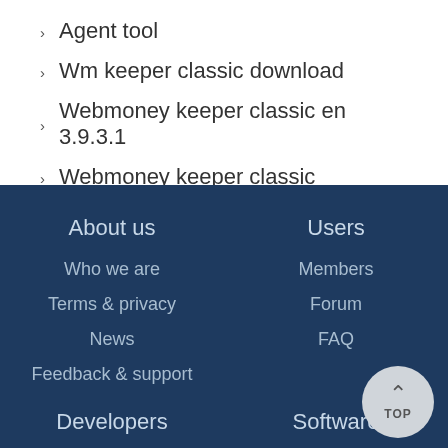Agent tool
Wm keeper classic download
Webmoney keeper classic en 3.9.3.1
Webmoney keeper classic
About us
Users
Who we are
Members
Terms & privacy
Forum
News
FAQ
Feedback & support
Developers
Software